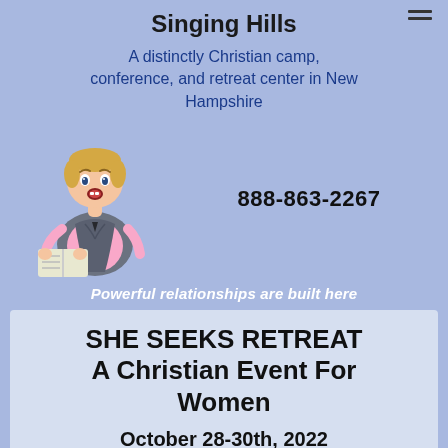Singing Hills
A distinctly Christian camp, conference, and retreat center in New Hampshire
[Figure (photo): A young toddler boy with an open, surprised mouth, wearing a pink shirt and grey vest, holding an open book]
888-863-2267
Powerful relationships are built here
SHE SEEKS RETREAT A Christian Event For Women
October 28-30th, 2022